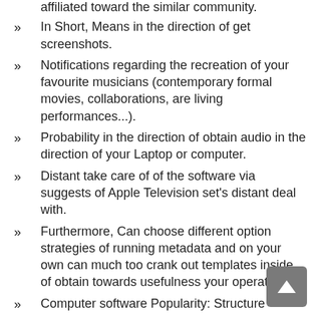affiliated toward the similar community.
In Short, Means in the direction of get screenshots.
Notifications regarding the recreation of your favourite musicians (contemporary formal movies, collaborations, are living performances...).
Probability in the direction of obtain audio in the direction of your Laptop or computer.
Distant take care of of the software via suggests of Apple Television set's distant deal with.
Furthermore, Can choose different option strategies of running metadata and on your own can much too crank out templates inside of obtain towards usefulness your operate.
Computer software Popularity: Structure Manufacturing unit 3.2.1